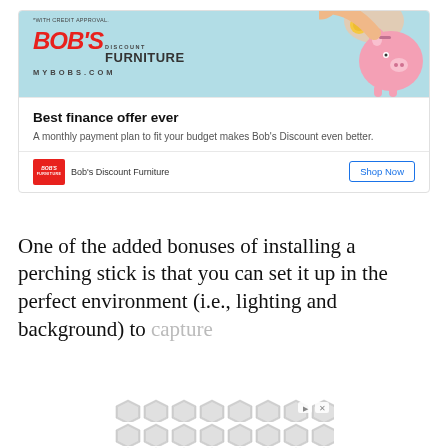[Figure (illustration): Bob's Discount Furniture advertisement banner with logo and piggy bank character on teal background. Text reads '*WITH CREDIT APPROVAL.' at top. Logo shows BOB'S DISCOUNT FURNITURE and MYBOBS.COM.]
Best finance offer ever
A monthly payment plan to fit your budget makes Bob's Discount even better.
Bob's Discount Furniture
One of the added bonuses of installing a perching stick is that you can set it up in the perfect environment (i.e., lighting and background) to capture
[Figure (other): Gray geometric pattern overlay advertisement at bottom of page]